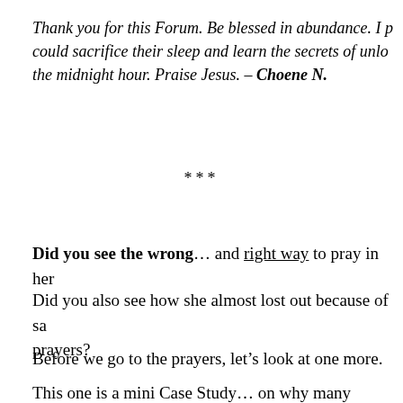Thank you for this Forum. Be blessed in abundance. I p… could sacrifice their sleep and learn the secrets of unlo… the midnight hour. Praise Jesus. – Choene N.
***
Did you see the wrong… and right way to pray in her…
Did you also see how she almost lost out because of sa… prayers?
Before we go to the prayers, let's look at one more.
This one is a mini Case Study… on why many prayers…